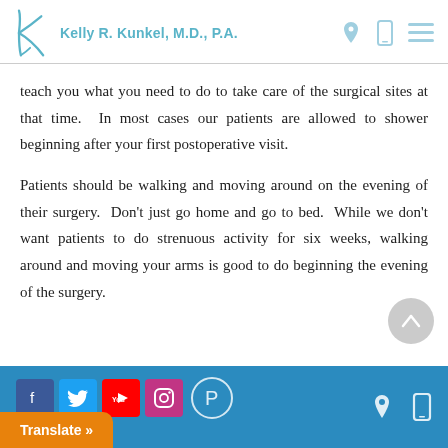Kelly R. Kunkel, M.D., P.A.
teach you what you need to do to take care of the surgical sites at that time.  In most cases our patients are allowed to shower beginning after your first postoperative visit.
Patients should be walking and moving around on the evening of their surgery.  Don't just go home and go to bed.  While we don't want patients to do strenuous activity for six weeks, walking around and moving your arms is good to do beginning the evening of the surgery.
Social media icons: Facebook, Twitter, YouTube, Instagram, Pinterest | Translate »